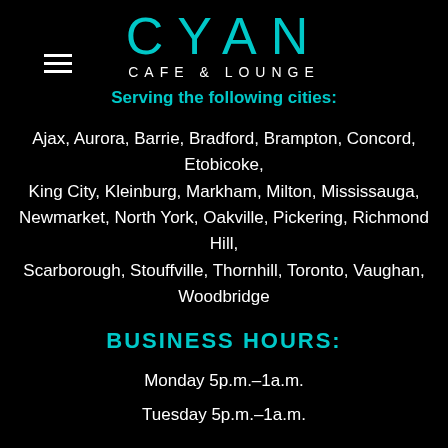[Figure (logo): Cyan Cafe & Lounge logo with hamburger menu icon]
Serving the following cities:
Ajax, Aurora, Barrie, Bradford, Brampton, Concord, Etobicoke, King City, Kleinburg, Markham, Milton, Mississauga, Newmarket, North York, Oakville, Pickering, Richmond Hill, Scarborough, Stouffville, Thornhill, Toronto, Vaughan, Woodbridge
BUSINESS HOURS:
Monday 5p.m.–1a.m.
Tuesday 5p.m.–1a.m.